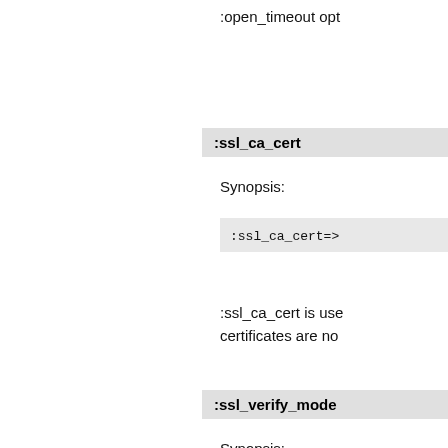:open_timeout opt
:ssl_ca_cert
Synopsis:
:ssl_ca_cert=>
:ssl_ca_cert is use certificates are no
:ssl_verify_mode
Synopsis:
:ssl_verify_mo
:ssl_verify_mode
:ftp_active_mode
Synopsis: